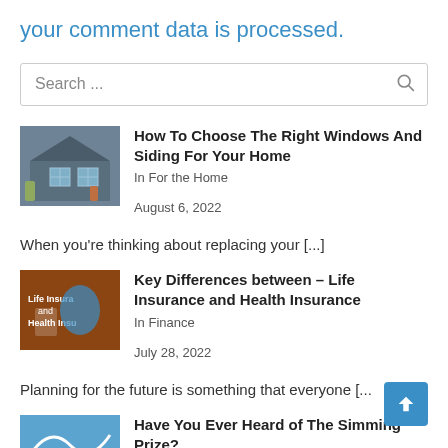your comment data is processed.
Search ...
How To Choose The Right Windows And Siding For Your Home
In For the Home
August 6, 2022
When you’re thinking about replacing your [...]
Key Differences between – Life Insurance and Health Insurance
In Finance
July 28, 2022
Planning for the future is something that everyone [...]
Have You Ever Heard of The Simming Prize?